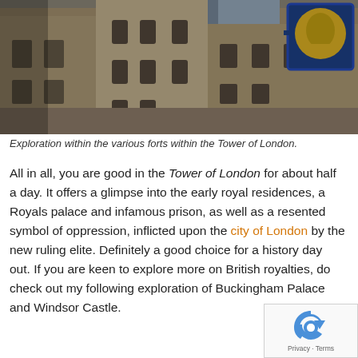[Figure (photo): Photograph showing the interior courtyard of the Tower of London with tall stone fortress buildings, gothic windows, and a decorative blue and gold heraldic sign visible in the upper right corner.]
Exploration within the various forts within the Tower of London.
All in all, you are good in the Tower of London for about half a day. It offers a glimpse into the early royal residences, a Royals palace and infamous prison, as well as a resented symbol of oppression, inflicted upon the city of London by the new ruling elite. Definitely a good choice for a history day out. If you are keen to explore more on British royalties, do check out my following exploration of Buckingham Palace and Windsor Castle.